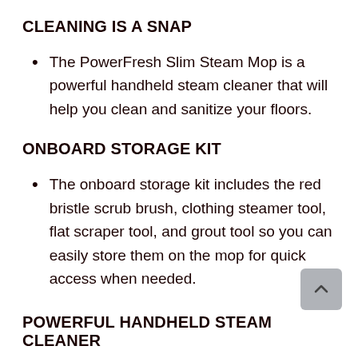CLEANING IS A SNAP
The PowerFresh Slim Steam Mop is a powerful handheld steam cleaner that will help you clean and sanitize your floors.
ONBOARD STORAGE KIT
The onboard storage kit includes the red bristle scrub brush, clothing steamer tool, flat scraper tool, and grout tool so you can easily store them on the mop for quick access when needed.
POWERFUL HANDHELD STEAM CLEANER